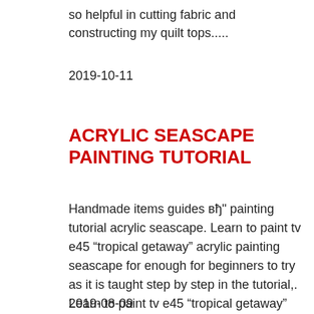so helpful in cutting fabric and constructing my quilt tops.....
2019-10-11
ACRYLIC SEASCAPE PAINTING TUTORIAL
Handmade items guides вђ" painting tutorial acrylic seascape. Learn to paint tv e45 “tropical getaway” acrylic painting seascape for enough for beginners to try as it is taught step by step in the tutorial,. Learn to paint tv e45 “tropical getaway” acrylic painting seascape for enough for beginners to try as it is taught step by step in the tutorial,....
2019-08-09